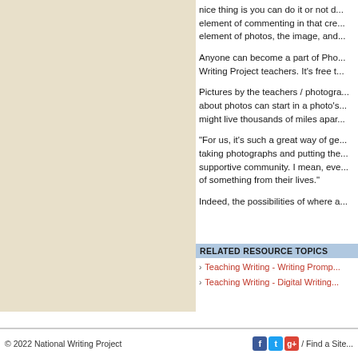nice thing is you can do it or not do... element of commenting in that cre... element of photos, the image, and...
Anyone can become a part of Pho... Writing Project teachers. It's free t...
Pictures by the teachers / photogra... about photos can start in a photo's... might live thousands of miles apar...
"For us, it's such a great way of ge... taking photographs and putting the... supportive community. I mean, eve... of something from their lives."
Indeed, the possibilities of where a...
RELATED RESOURCE TOPICS
Teaching Writing - Writing Promp...
Teaching Writing - Digital Writing...
© 2022 National Writing Project / Find a Site...